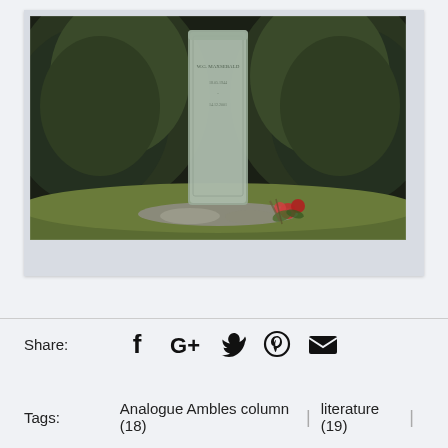[Figure (photo): Polaroid-style photograph of a grave/tombstone with inscription 'W.G. MAXSEBALD' surrounded by dark hedges and red flowers at base, with green grass in foreground]
Share:
Tags:  Analogue Ambles column (18)  |  literature (19)  |